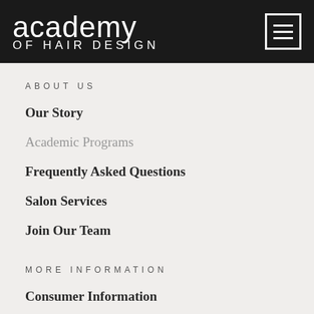academy OF HAIR DESIGN
ABOUT US
Our Story
Academic Programs
Frequently Asked Questions
Salon Services
Join Our Team
MORE INFORMATION
Consumer Information
Net Price Calculator